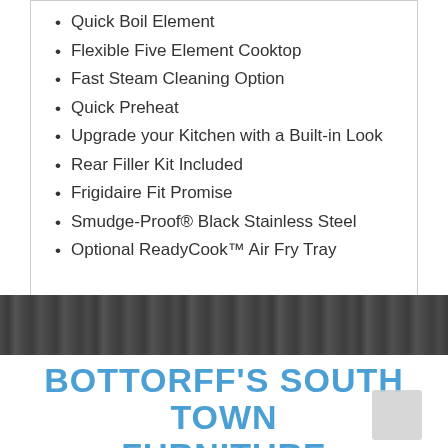Quick Boil Element
Flexible Five Element Cooktop
Fast Steam Cleaning Option
Quick Preheat
Upgrade your Kitchen with a Built-in Look
Rear Filler Kit Included
Frigidaire Fit Promise
Smudge-Proof® Black Stainless Steel
Optional ReadyCook™ Air Fry Tray
[Figure (photo): Dark wood grain horizontal band texture]
BOTTORFF'S SOUTH TOWN FURNITURE